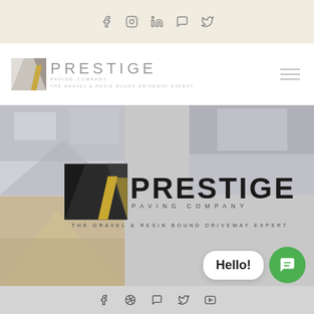Social media icons: Facebook, Instagram, LinkedIn, Skype, Twitter
[Figure (logo): Prestige Paving Company logo in header - small version with road/driveway graphic icon and text 'PRESTIGE' with subtext 'THE GRAVEL & RESIN BOUND DRIVEWAY EXPERT', hamburger menu icon on right]
[Figure (photo): Main content area with photo collage of driveways/paving work on left and right sides, overlaid with large centered Prestige Paving Company logo - black road icon with gold stripe, bold black PRESTIGE text, 'PAVING COMPANY' subtext, and 'THE GRAVEL & RESIN BOUND DRIVEWAY EXPERT' tagline]
[Figure (other): Chat widget in bottom right - white speech bubble with 'Hello!' text and green circle chat icon]
Social media icons: Facebook, Pinterest, Skype, Twitter, YouTube